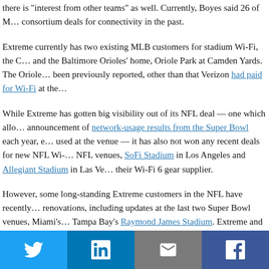there is "interest from other teams" as well. Currently, Boyes said 26 of ML... consortium deals for connectivity in the past.
Extreme currently has two existing MLB customers for stadium Wi-Fi, the O... and the Baltimore Orioles' home, Oriole Park at Camden Yards. The Oriole... been previously reported, other than that Verizon had paid for Wi-Fi at the...
While Extreme has gotten big visibility out of its NFL deal — one which allo... announcement of network-usage results from the Super Bowl each year, e... used at the venue — it has also not won any recent deals for new NFL Wi-... NFL venues, SoFi Stadium in Los Angeles and Allegiant Stadium in Las Ve... their Wi-Fi 6 gear supplier.
However, some long-standing Extreme customers in the NFL have recently... renovations, including updates at the last two Super Bowl venues, Miami's... Tampa Bay's Raymond James Stadium. Extreme and the Seattle Seahawk... a Wi-Fi 6 upgrade to the network at Lumen Field this past year, but that an... the team due to the Covid pandemic.
Wes Durow, chief marketing officer for Extreme, said in a phone interview t... analytics makes it a great fit with Major League Baseball, which he said ha... entire sports world when it comes to emphasizing new statistics as a way t...